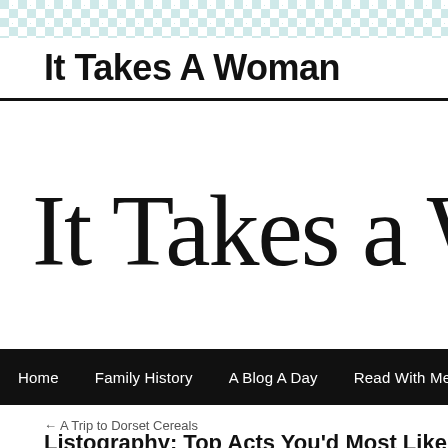It Takes A Woman
[Figure (logo): Decorative serif logo reading 'It Takes a Wo' (partially cropped), in large ornate black typeface on white background]
Home   Family History   A Blog A Day   Read With Me   Book Re...
← A Trip to Dorset Cereals
Listography: Top Acts You'd Most Like To...